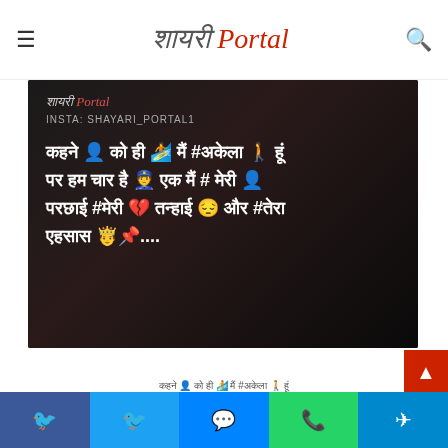Shayari Portal - navigation header with logo, hamburger menu, and search icon
[Figure (photo): Dark background shayari card image with Shayari Portal logo, Instagram handle 'Insta: Shayari_Portal1', and Hindi poetry text with emojis: कहने 👤 को ही 🏄 मैं #अकेला 🚶 हूं पर हम चार है 👮 एक मैं # मेरी 👤 परछाई #मेरी 💔 तन्हाई 😔 और #तेरा एहसास 🤴📌....]
कहने 👤 को ही 🏄 मैं #अकेला 🚶 हूं पर हम चार है 👮 एक मैं # मेरी 👤 परछाई #मेरी 💔 तन्हाई 😔 और #तेरा एहसास 🤴📌....
Share buttons: Facebook, Twitter, Messenger, WhatsApp, Telegram